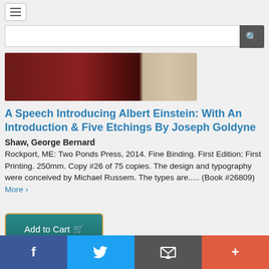Navigation menu and search bar
[Figure (photo): A book with dark red/maroon wooden cover and cream/beige pages partially open]
A Speech Introducing Albert Einstein: With An Introduction & Five Etchings By Joseph Goldyne
Shaw, George Bernard
Rockport, ME: Two Ponds Press, 2014. Fine Binding. First Edition; First Printing. 250mm. Copy #26 of 75 copies. The design and typography were conceived by Michael Russem. The types are..... (Book #26809) More >
Add to Cart
Price: $2,600.00
f  Twitter  Email  +